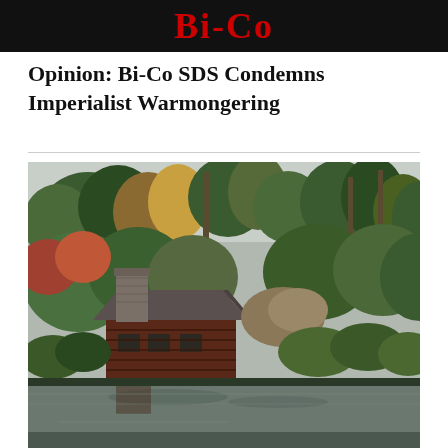Bi-Co
Opinion: Bi-Co SDS Condemns Imperialist Warmongering
[Figure (photo): A rustic wooden cabin with a stone chimney surrounded by autumn trees with colorful foliage, reflected in a calm pond in the foreground. Overcast sky visible above the tree line.]